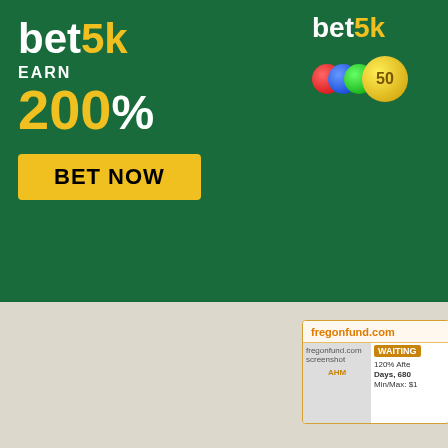[Figure (screenshot): bet5k advertisement banner — green background, 'bet5k' logo, 'EARN 200%', 'BET NOW' yellow button]
[Figure (screenshot): bet5k right-side banner with coins graphic showing '50']
[Figure (screenshot): AHM link and payment badges strip (Perfect Money, Bitcoin) at top right]
Conice Investment Limited
[Figure (screenshot): Conice Investment Limited card: conice logo screenshot, WAITING status, 1.4% - 2.7% rates, Principal, Min/Max: $2, Referral: 5%, Withdrawal, AHM link, payment badges]
fregonfund.com
[Figure (screenshot): fregonfund.com card: screenshot placeholder, WAITING status, 120% After Days, 680, Min/Max: $1, AHM link]